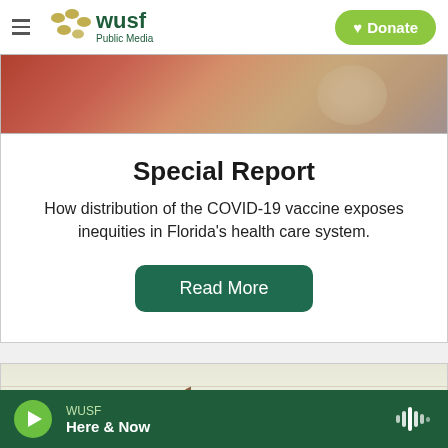WUSF Public Media | Donate
[Figure (photo): Photo of people, partially visible at top of page]
Special Report
How distribution of the COVID-19 vaccine exposes inequities in Florida's health care system.
Read More
[Figure (photo): Bottom photo partially visible showing a pencil on lined paper]
WUSF Here & Now